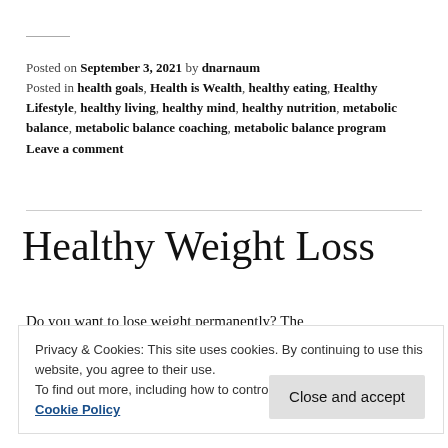Posted on September 3, 2021 by dnarnaum
Posted in health goals, Health is Wealth, healthy eating, Healthy Lifestyle, healthy living, healthy mind, healthy nutrition, metabolic balance, metabolic balance coaching, metabolic balance program
Leave a comment
Healthy Weight Loss
Do you want to lose weight permanently? The
Privacy & Cookies: This site uses cookies. By continuing to use this website, you agree to their use.
To find out more, including how to control cookies, see here: Cookie Policy
Close and accept
accompanies you step by step. The acronym stands